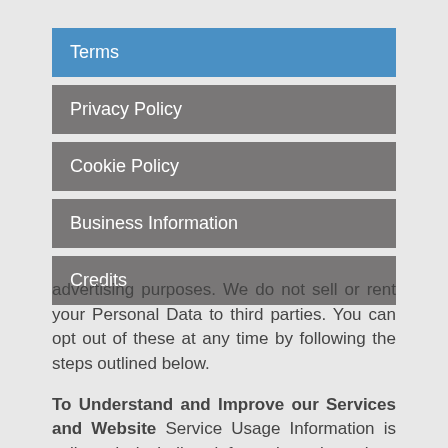Terms
Privacy Policy
Cookie Policy
Business Information
Credits
advertising purposes. We do not sell or rent your Personal Data to third parties. You can opt out of these at any time by following the steps outlined below.
To Understand and Improve our Services and Website Service Usage Information is collected, including information about how you are accessing and using the Service. We use this information to understand and improve our Services, and to investigate and prevent security issues, abuse, fraud.
Facilitating you using our site: We collect the IP